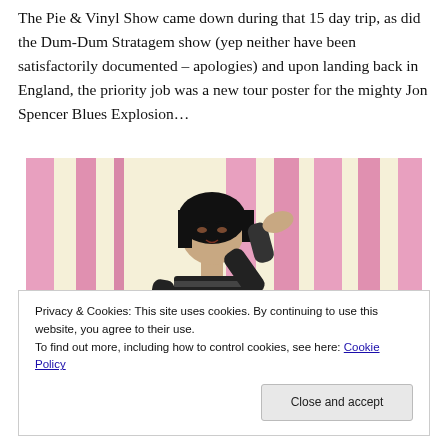The Pie & Vinyl Show came down during that 15 day trip, as did the Dum-Dum Stratagem show (yep neither have been satisfactorily documented – apologies) and upon landing back in England, the priority job was a new tour poster for the mighty Jon Spencer Blues Explosion…
[Figure (illustration): Graphic illustration of a stylized woman with a black bob haircut, wearing a striped black top, shielding her eyes with one hand. Background features bold vertical pink and white stripes on a cream/yellow background.]
Privacy & Cookies: This site uses cookies. By continuing to use this website, you agree to their use.
To find out more, including how to control cookies, see here: Cookie Policy